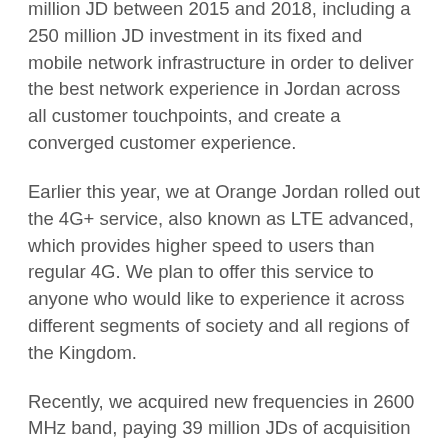million JD between 2015 and 2018, including a 250 million JD investment in its fixed and mobile network infrastructure in order to deliver the best network experience in Jordan across all customer touchpoints, and create a converged customer experience.
Earlier this year, we at Orange Jordan rolled out the 4G+ service, also known as LTE advanced, which provides higher speed to users than regular 4G. We plan to offer this service to anyone who would like to experience it across different segments of society and all regions of the Kingdom.
Recently, we acquired new frequencies in 2600 MHz band, paying 39 million JDs of acquisition fees and have started offering 4G+ services.
Moreover, Orange Jordan is focusing on the Fibre...